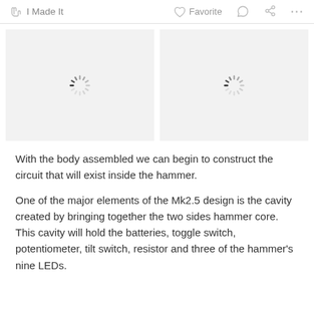I Made It   Favorite
[Figure (photo): Two image placeholders with loading spinner icons, shown side by side on a light gray background]
With the body assembled we can begin to construct the circuit that will exist inside the hammer.
One of the major elements of the Mk2.5 design is the cavity created by bringing together the two sides hammer core. This cavity will hold the batteries, toggle switch, potentiometer, tilt switch, resistor and three of the hammer's nine LEDs.